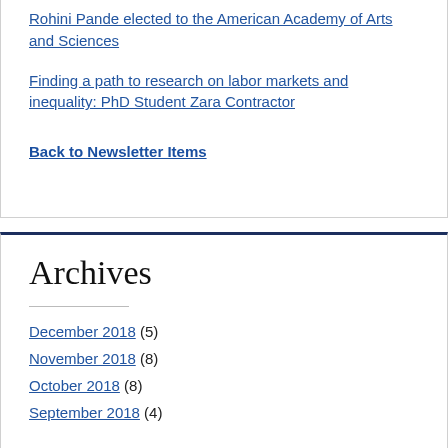Rohini Pande elected to the American Academy of Arts and Sciences
Finding a path to research on labor markets and inequality: PhD Student Zara Contractor
Back to Newsletter Items
Archives
December 2018 (5)
November 2018 (8)
October 2018 (8)
September 2018 (4)